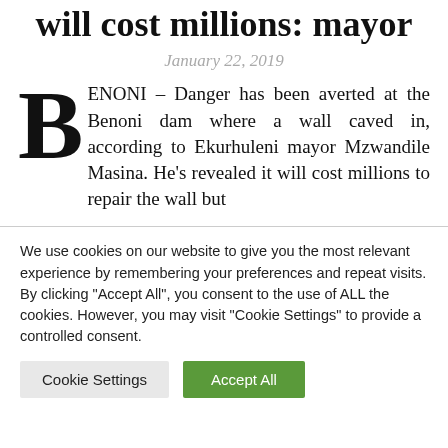will cost millions: mayor
January 22, 2019
BENONI – Danger has been averted at the Benoni dam where a wall caved in, according to Ekurhuleni mayor Mzwandile Masina. He's revealed it will cost millions to repair the wall but
We use cookies on our website to give you the most relevant experience by remembering your preferences and repeat visits. By clicking "Accept All", you consent to the use of ALL the cookies. However, you may visit "Cookie Settings" to provide a controlled consent.